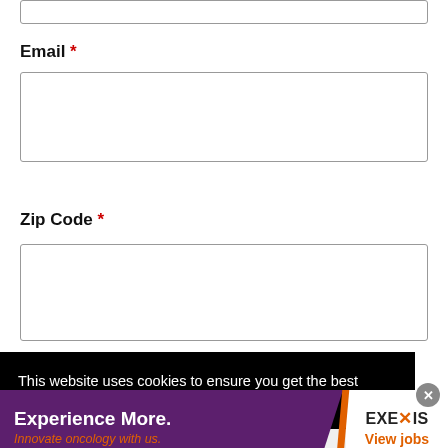Email *
Zip Code *
This website uses cookies to ensure you get the best experience on our website. Learn More
[Figure (infographic): Advertisement banner for Exelixis with purple background on left saying 'Experience More. Innovate oncology with us.' and white right section with Exelixis logo and 'View jobs' link]
Experience More. Innovate oncology with us.
EXELIXIS View jobs